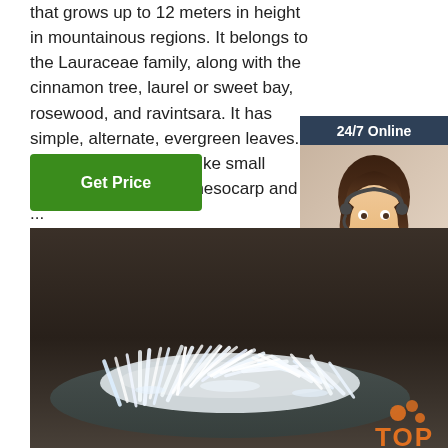that grows up to 12 meters in height in mountainous regions. It belongs to the Lauraceae family, along with the cinnamon tree, laurel or sweet bay, rosewood, and ravintsara. It has simple, alternate, evergreen leaves. The fruits are shaped like small berries, with a fleshy mesocarp and ...
Get Price
[Figure (photo): Customer service representative with headset, smiling, with '24/7 Online' banner and 'Click here for free chat!' and 'QUOTATION' button on dark blue sidebar]
[Figure (photo): Close-up photo of white crystalline menthol crystals piled on a dark surface, with a TOP badge watermark in the bottom right corner]